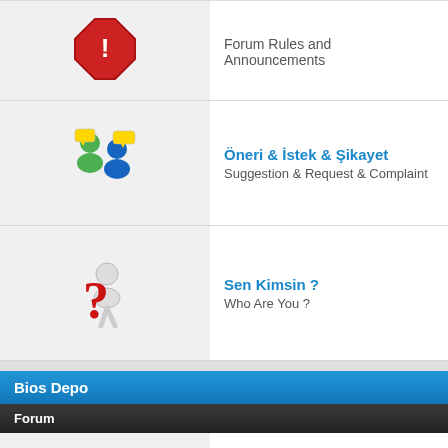Forum Rules and Announcements
Öneri & İstek & Şikayet
Suggestion & Request & Complaint
Sen Kimsin ?
Who Are You ?
Bios Depo
Forum
Bios İstekleriniz
Bios Requests
Acer Anakart
Acer Mainboard Bios
Sub Forums: Acer Boardview, Acer Desktop, All-in-One,
Apple Anakart
Apple Mainboard Bios